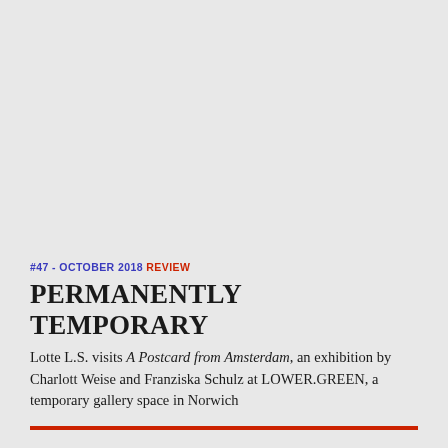#47 - OCTOBER 2018 REVIEW
PERMANENTLY TEMPORARY
Lotte L.S. visits A Postcard from Amsterdam, an exhibition by Charlott Weise and Franziska Schulz at LOWER.GREEN, a temporary gallery space in Norwich